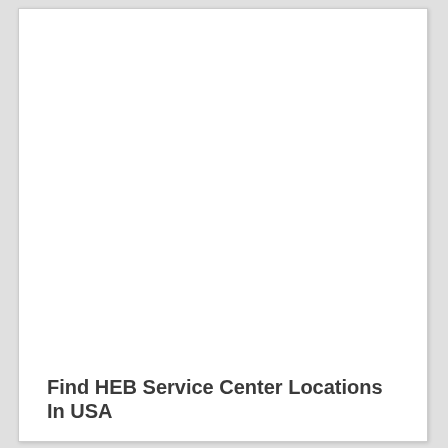Find HEB Service Center Locations In USA